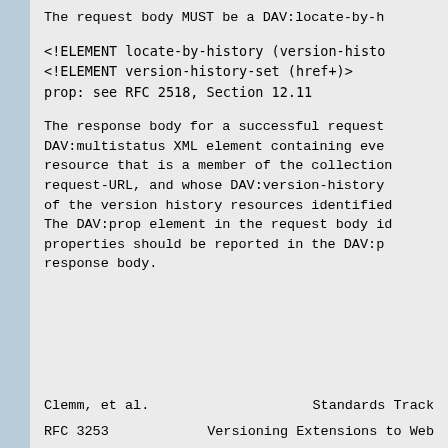The request body MUST be a DAV:locate-by-h
<!ELEMENT locate-by-history (version-histo
<!ELEMENT version-history-set (href+)>
prop: see RFC 2518, Section 12.11
The response body for a successful request DAV:multistatus XML element containing eve resource that is a member of the collection request-URL, and whose DAV:version-history of the version history resources identified The DAV:prop element in the request body id properties should be reported in the DAV:p response body.
Clemm, et al.              Standards Track

RFC 3253              Versioning Extensions to Web